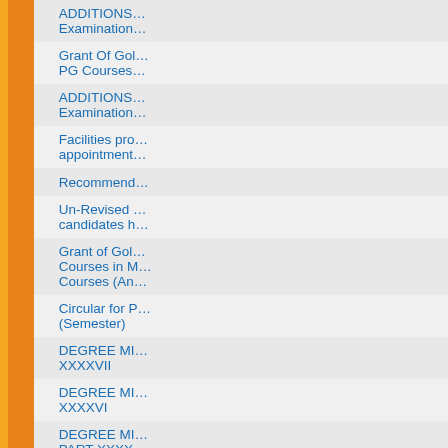| No. | Date | Title |
| --- | --- | --- |
| 595. | 24/03/2017 | ADDITIONS… Examination… |
| 596. | 22/03/2017 | Grant Of Go… PG Courses… |
| 597. | 21/03/2017 | ADDITIONS… Examination… |
| 598. | 16/03/2017 | Facilities pro… appointment… |
| 599. | 10/03/2017 | Recommend… |
| 600. | 01/03/2017 | Un-Revised… candidates h… |
| 601. | 28/02/2017 | Grant of Gol… Courses in M… Courses (An… |
| 602. | 22/02/2017 | Circular for P… (Semester) |
| 603. | 17/01/2017 | DEGREE MI… XXXXVII |
| 604. | 17/01/2017 | DEGREE MI… XXXXVI |
| 605. | 17/01/2017 | DEGREE MI… PART XXXX… |